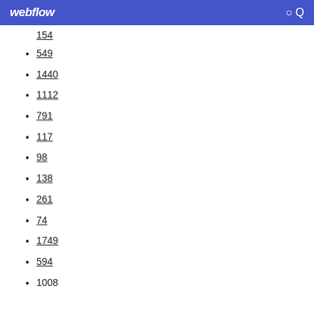webflow
154
549
1440
1112
791
117
98
138
261
74
1749
594
1008